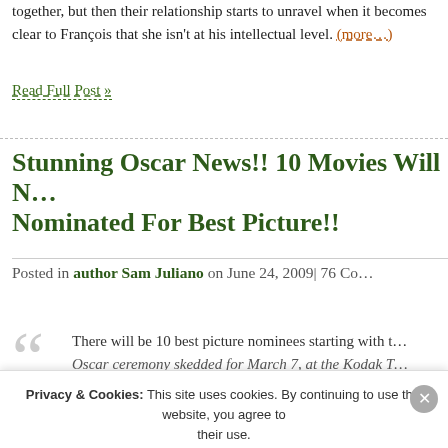together, but then their relationship starts to unravel when it becomes clear to François that she isn't at his intellectual level. (more…)
Read Full Post »
Stunning Oscar News!! 10 Movies Will Now Be Nominated For Best Picture!!
Posted in author Sam Juliano on June 24, 2009| 76 Co…
There will be 10 best picture nominees starting with the Oscar ceremony skedded for March 7, at the Kodak T…
Privacy & Cookies: This site uses cookies. By continuing to use this website, you agree to their use. To find out more, including how to control cookies, see here: Cookie Policy
Close and accept